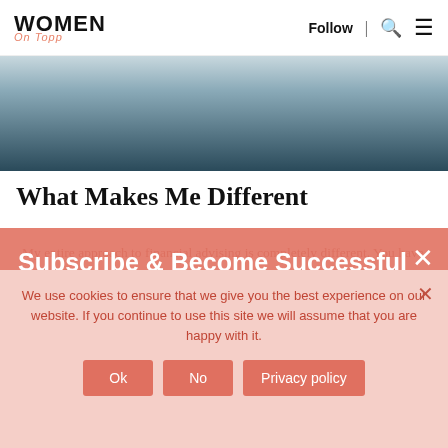WOMEN On Topp | Follow | Search | Menu
[Figure (photo): Partial photo of a person in dark jeans against a light background, cropped at waist level]
What Makes Me Different
My entire approach to financial advising is completely different. You have to look at the core, the reasons behind your money habits in order to change them. This approach is like the programs I create that have an end goal and purpose in mind.
Subscribe & Become Successful
receive our newsletters and updates by email
We use cookies to ensure that we give you the best experience on our website. If you continue to use this site we will assume that you are happy with it.